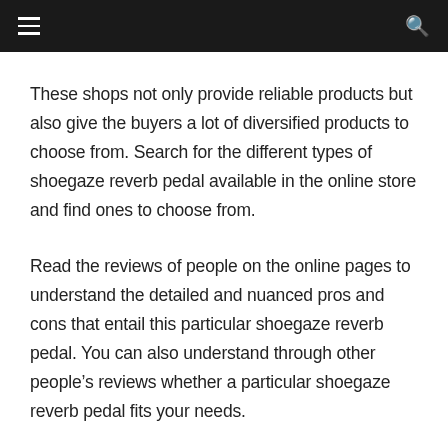Navigation bar with hamburger menu and search icon
These shops not only provide reliable products but also give the buyers a lot of diversified products to choose from. Search for the different types of shoegaze reverb pedal available in the online store and find ones to choose from.
Read the reviews of people on the online pages to understand the detailed and nuanced pros and cons that entail this particular shoegaze reverb pedal. You can also understand through other people's reviews whether a particular shoegaze reverb pedal fits your needs.